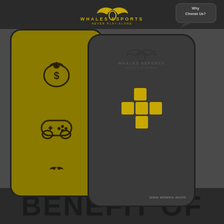[Figure (logo): Whales Esports logo with whale-tail icon, text WHALES ESPORTS, tagline NEVER PLAY ALONE in gold on dark background header]
[Figure (screenshot): Two smartphone mockups showing Whales Esports app screens. Left phone has dark olive/yellow background with money bag icon and game controller icon. Right phone shows Whales Esports logo, a cross/plus shaped icon in gold, and www.whales.world text at bottom. Speech bubble with 'Why Choose Us?' visible top right.]
BENEFIT OF